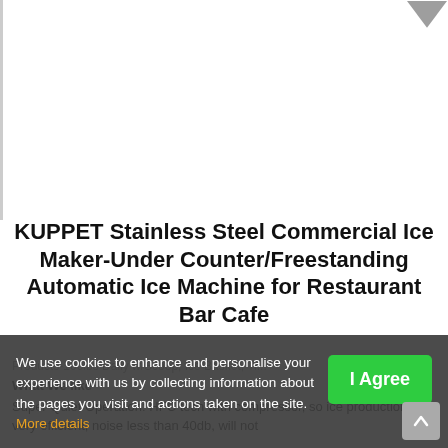[Figure (photo): Product image area for KUPPET Stainless Steel Commercial Ice Maker, white background with gray chevron/badge icon at top right]
KUPPET Stainless Steel Commercial Ice Maker-Under Counter/Freestanding Automatic Ice Machine for Restaurant Bar Cafe
Products-100lbs Daily w/Scoop, Ice Basket, Ti...
What We like
Super Quiet Operation: HFC tech with compressor, so ice production is very efficient, noise less than 40db, will not
We use cookies to enhance and personalise your experience with us by collecting information about the pages you visit and actions taken on the site. More details